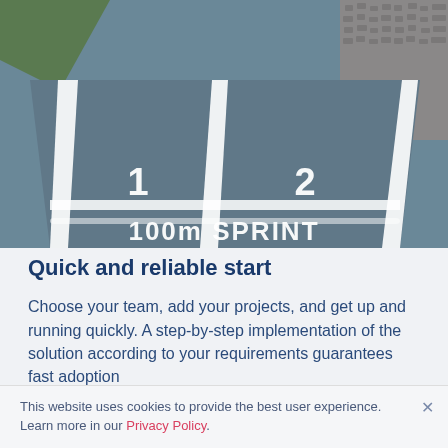[Figure (photo): Aerial/low-angle photo of an athletic track starting line showing lanes 1 and 2 with white lines, marked '100m SPRINT' in white text on a blue-grey track surface.]
Quick and reliable start
Choose your team, add your projects, and get up and running quickly. A step-by-step implementation of the solution according to your requirements guarantees fast adoption
This website uses cookies to provide the best user experience. Learn more in our Privacy Policy.